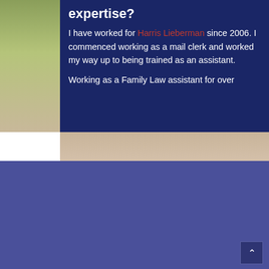expertise?
I have worked for Harris Lieberman since 2006. I commenced working as a mail clerk and worked my way up to being trained as an assistant.
Working as a Family Law assistant for over
FIND US
LINKS
Harris Lieberman
2/497
Home
Services
About